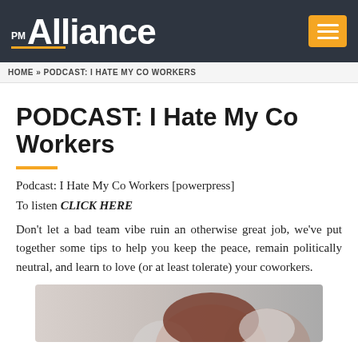PM Alliance
HOME » PODCAST: I HATE MY CO WORKERS
PODCAST: I Hate My Co Workers
Podcast: I Hate My Co Workers [powerpress]
To listen CLICK HERE
Don't let a bad team vibe ruin an otherwise great job, we've put together some tips to help you keep the peace, remain politically neutral, and learn to love (or at least tolerate) your coworkers.
[Figure (photo): Photo of people, partially visible heads, blurred background]